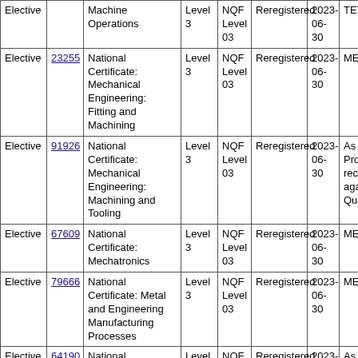| Type | ID | Name | Level | NQF | Status | Date | Extra |
| --- | --- | --- | --- | --- | --- | --- | --- |
| Elective |  | Machine Operations | Level 3 | NQF Level 03 | Reregistered | 2023-06-30 | TETA |
| Elective | 23255 | National Certificate: Mechanical Engineering: Fitting and Machining | Level 3 | NQF Level 03 | Reregistered | 2023-06-30 | MERSE |
| Elective | 91926 | National Certificate: Mechanical Engineering: Machining and Tooling | Level 3 | NQF Level 03 | Reregistered | 2023-06-30 | As per L Program recorded against t Qual |
| Elective | 67609 | National Certificate: Mechatronics | Level 3 | NQF Level 03 | Reregistered | 2023-06-30 | MERSE |
| Elective | 79666 | National Certificate: Metal and Engineering Manufacturing Processes | Level 3 | NQF Level 03 | Reregistered | 2023-06-30 | MERSE |
| Elective | 64190 | National Certificate: Metals Production | Level 3 | NQF Level 03 | Reregistered | 2023-06-30 | As per L Program recorded against t Qual |
| Elective | 49449 | National Certificate: Plastics Manufacturing | Level 3 | NQF Level 03 | Reregistered | 2023-06-30 | MERSE |